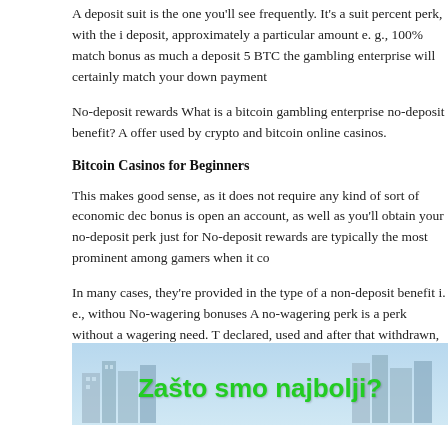A deposit suit is the one you'll see frequently. It's a suit percent perk, with the i deposit, approximately a particular amount e. g., 100% match bonus as much a deposit 5 BTC the gambling enterprise will certainly match your down payment
No-deposit rewards What is a bitcoin gambling enterprise no-deposit benefit? A offer used by crypto and bitcoin online casinos.
Bitcoin Casinos for Beginners
This makes good sense, as it does not require any kind of sort of economic dec bonus is open an account, as well as you'll obtain your no-deposit perk just for No-deposit rewards are typically the most prominent among gamers when it co
In many cases, they're provided in the type of a non-deposit benefit i. e., withou No-wagering bonuses A no-wagering perk is a perk without a wagering need. T declared, used and after that withdrawn, with no needs for the amount of times
Related Posts
[Figure (illustration): Image showing city skyline with green text 'Zašto smo najbolji?' on a light blue background]